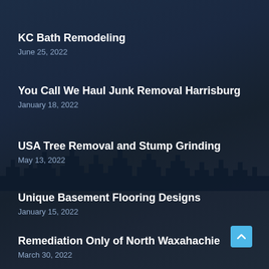KC Bath Remodeling
June 25, 2022
You Call We Haul Junk Removal Harrisburg
January 18, 2022
USA Tree Removal and Stump Grinding
May 13, 2022
Unique Basement Flooring Designs
January 15, 2022
Remediation Only of North Waxahachie
March 30, 2022